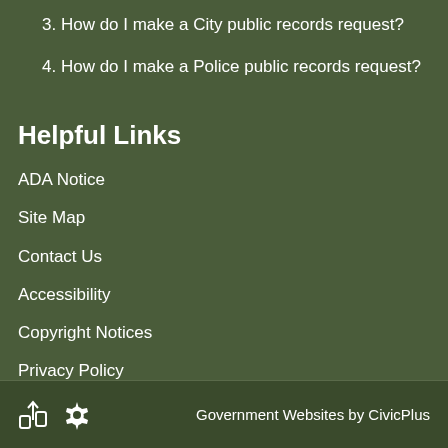3. How do I make a City public records request?
4. How do I make a Police public records request?
Helpful Links
ADA Notice
Site Map
Contact Us
Accessibility
Copyright Notices
Privacy Policy
Government Websites by CivicPlus